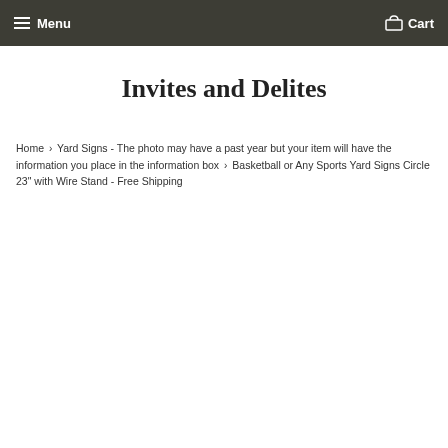Menu  Cart
Invites and Delites
Home › Yard Signs - The photo may have a past year but your item will have the information you place in the information box › Basketball or Any Sports Yard Signs Circle 23" with Wire Stand - Free Shipping